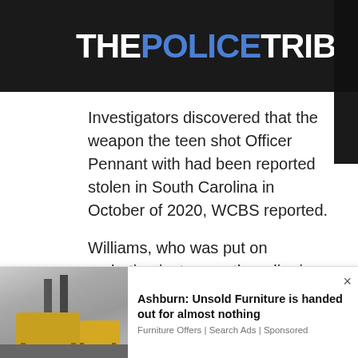THE POLICE TRIBUNE
Investigators discovered that the weapon the teen shot Officer Pennant with had been reported stolen in South Carolina in October of 2020, WCBS reported.
Williams, who was put on probation just a month earlier in connection with a separate 2020 gun case, was initially charged with attempted murder, then the
[Figure (photo): Advertisement showing a furniture store interior with sofas and pendant lamps]
Ashburn: Unsold Furniture is handed out for almost nothing
Furniture Offers | Search Ads | Sponsored